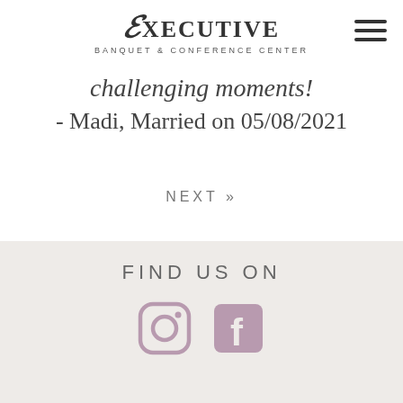Executive Banquet & Conference Center
challenging moments!
- Madi, Married on 05/08/2021
NEXT »
FIND US ON
[Figure (logo): Instagram and Facebook social media icons in muted purple/mauve color]